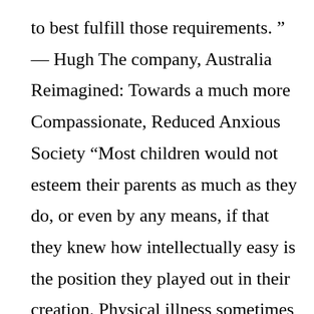to best fulfill those requirements. ” — Hugh The company, Australia Reimagined: Towards a much more Compassionate, Reduced Anxious Society “Most children would not esteem their parents as much as they do, or even by any means, if that they knew how intellectually easy is the position they played out in their creation. Physical illness sometimes presents itself in people in toxic relationships. You can, and you ought to include your partner in your decision, but the